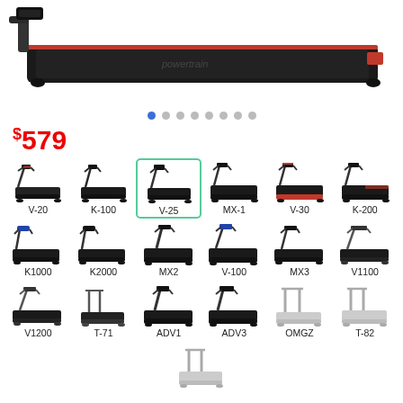[Figure (photo): Hero image of a Powertrain treadmill from above/side angle, black with red accent stripe]
[Figure (other): Carousel navigation dots, 8 total, first one active (blue), rest grey]
$579
[Figure (other): Grid of treadmill model thumbnails: V-20, K-100, V-25 (selected/highlighted), MX-1, V-30, K-200, K1000, K2000, MX2, V-100, MX3, V1100, V1200, T-71, ADV1, ADV3, OMGZ, T-82, and a partial row with one more model]